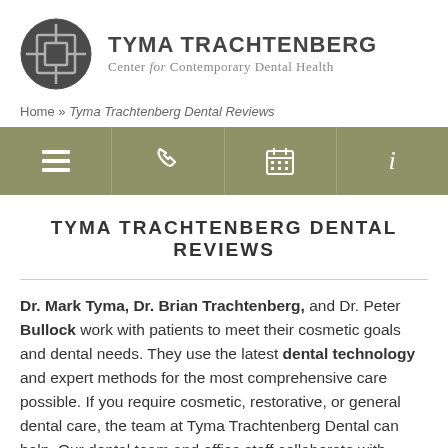[Figure (logo): Tyma Trachtenberg Center for Contemporary Dental Health logo — circular dark grey emblem with crosshair/square target graphic, followed by bold sans-serif brand name and italic subtitle]
Home » Tyma Trachtenberg Dental Reviews
[Figure (screenshot): Olive/sage green navigation bar with four icon buttons: hamburger menu, phone, calendar, and info]
TYMA TRACHTENBERG DENTAL REVIEWS
Dr. Mark Tyma, Dr. Brian Trachtenberg, and Dr. Peter Bullock work with patients to meet their cosmetic goals and dental needs. They use the latest dental technology and expert methods for the most comprehensive care possible. If you require cosmetic, restorative, or general dental care, the team at Tyma Trachtenberg Dental can help. Our dental team and office staff collaborate with